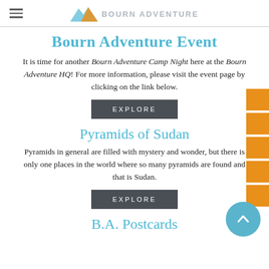Bourn Adventure
Bourn Adventure Event
It is time for another Bourn Adventure Camp Night here at the Bourn Adventure HQ! For more information, please visit the event page by clicking on the link below.
Explore
Pyramids of Sudan
Pyramids in general are filled with mystery and wonder, but there is only one places in the world where so many pyramids are found and that is Sudan.
Explore
B.A. Postcards